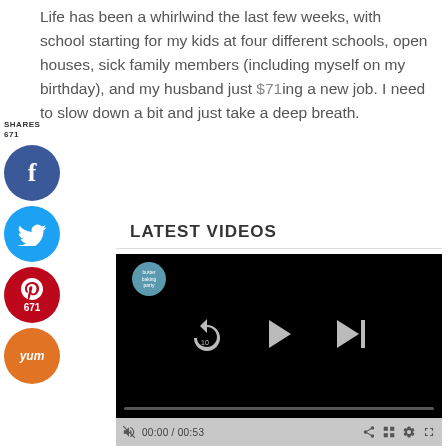Life has been a whirlwind the last few weeks, with school starting for my kids at four different schools, open houses, sick family members (including myself on my birthday), and my husband just starting a new job. I need to slow down a bit and just take a deep breath.
[Figure (infographic): Social media share buttons: Facebook (blue circle with f), Twitter (cyan circle with bird icon), Pinterest (red circle with P icon, showing 671 count), Yummly (orange circle with 'yum' text). SHARES label with count 671.]
LATEST VIDEOS
[Figure (screenshot): Video player with black background showing playback controls: rewind 10 seconds button, play button (triangle), skip to next button. Progress bar at bottom. Control bar showing 00:00 / 00:53 timestamp, share, grid, settings, and fullscreen icons. Small circular logo in top left corner of video.]